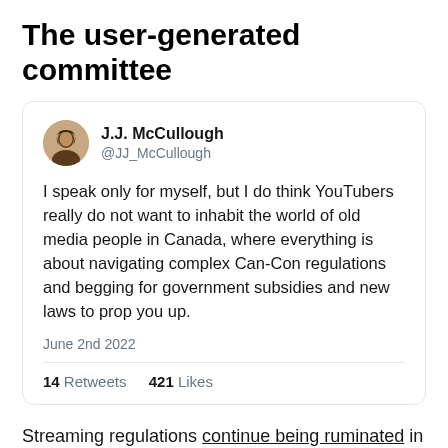The user-generated committee
[Figure (screenshot): Tweet by J.J. McCullough (@JJ_McCullough) dated June 2nd 2022. Text: 'I speak only for myself, but I do think YouTubers really do not want to inhabit the world of old media people in Canada, where everything is about navigating complex Can-Con regulations and begging for government subsidies and new laws to prop you up.' Stats: 14 Retweets, 421 Likes.]
Streaming regulations continue being ruminated in Ottawa, where YouTube enthusiast J.J. McCullough